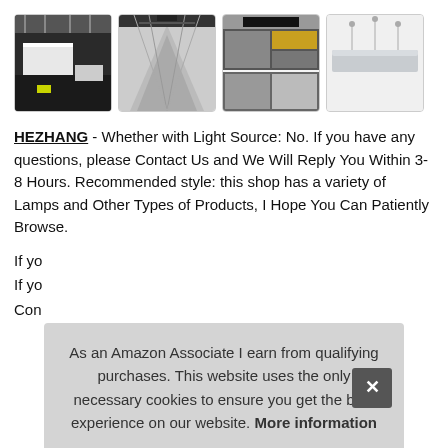[Figure (photo): Gallery of 4 product thumbnail images showing office lighting fixtures and installations]
HEZHANG - Whether with Light Source: No. If you have any questions, please Contact Us and We Will Reply You Within 3-8 Hours. Recommended style: this shop has a variety of Lamps and Other Types of Products, I Hope You Can Patiently Browse.
If yo...
If yo...
Con...
As an Amazon Associate I earn from qualifying purchases. This website uses the only necessary cookies to ensure you get the best experience on our website. More information